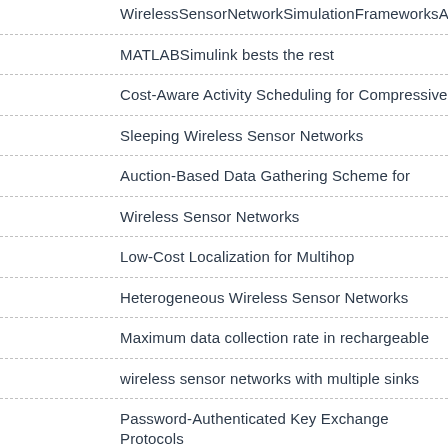WirelessSensorNetworkSimulationFrameworksATutorialR
MATLABSimulink bests the rest
Cost-Aware Activity Scheduling for Compressive
Sleeping Wireless Sensor Networks
Auction-Based Data Gathering Scheme for
Wireless Sensor Networks
Low-Cost Localization for Multihop
Heterogeneous Wireless Sensor Networks
Maximum data collection rate in rechargeable
wireless sensor networks with multiple sinks
Password-Authenticated Key Exchange Protocols